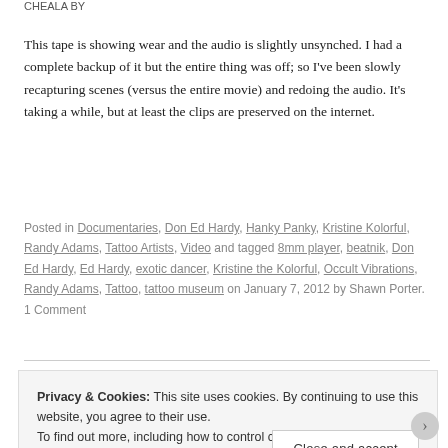CHEALA BY
This tape is showing wear and the audio is slightly unsynched. I had a complete backup of it but the entire thing was off; so I've been slowly recapturing scenes (versus the entire movie) and redoing the audio. It's taking a while, but at least the clips are preserved on the internet.
Posted in Documentaries, Don Ed Hardy, Hanky Panky, Kristine Kolorful, Randy Adams, Tattoo Artists, Video and tagged 8mm player, beatnik, Don Ed Hardy, Ed Hardy, exotic dancer, Kristine the Kolorful, Occult Vibrations, Randy Adams, Tattoo, tattoo museum on January 7, 2012 by Shawn Porter. 1 Comment
Privacy & Cookies: This site uses cookies. By continuing to use this website, you agree to their use.
To find out more, including how to control cookies, see here: Cookie Policy